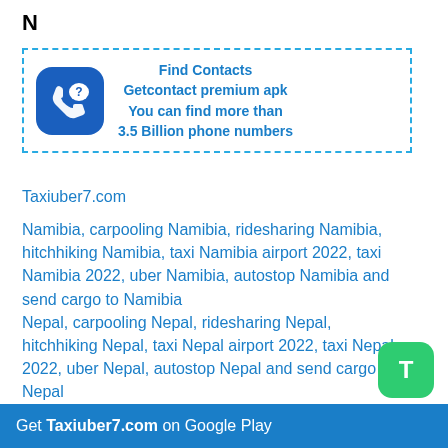N
[Figure (infographic): Find Contacts advertisement box with blue dashed border. Shows app icon (blue rounded square with phone and question mark) and text: Find Contacts, Getcontact premium apk, You can find more than 3.5 Billion phone numbers]
Taxiuber7.com
Namibia, carpooling Namibia, ridesharing Namibia, hitchhiking Namibia, taxi Namibia airport 2022, taxi Namibia 2022, uber Namibia, autostop Namibia and send cargo to Namibia
Nepal, carpooling Nepal, ridesharing Nepal, hitchhiking Nepal, taxi Nepal airport 2022, taxi Nepal 2022, uber Nepal, autostop Nepal and send cargo to Nepal
Netherlands, carpooling Netherlands, ridesharing Netherlands, hitchhiking Netherlands, taxi Netherlands airport 2022, taxi Netherlands 2022, uber Netherlands, autostop Netherlands and send cargo to Netherlands
New Caledonia, carpooling New Caledonia, hitchhiking New...
Get Taxiuber7.com on Google Play